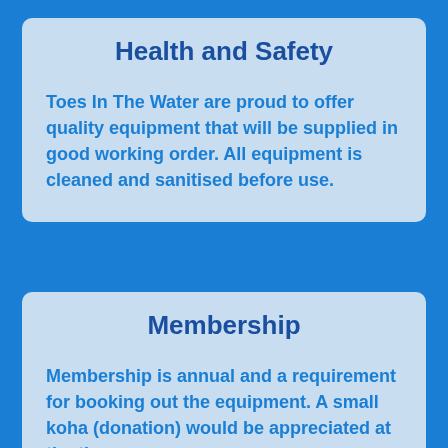Health and Safety
Toes In The Water are proud to offer quality equipment that will be supplied in good working order. All equipment is cleaned and sanitised before use.
Membership
Membership is annual and a requirement for booking out the equipment. A small koha (donation) would be appreciated at the time you